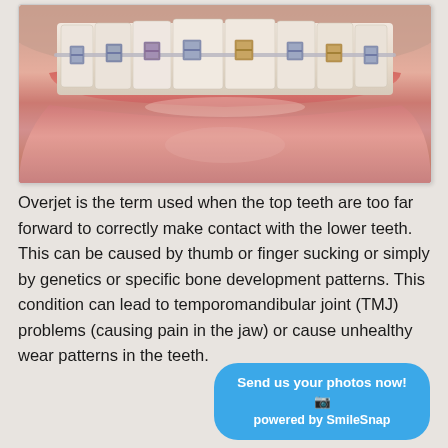[Figure (photo): Close-up photo of a person's mouth showing teeth with metal braces and brackets, lips visible, smiling slightly]
Overjet is the term used when the top teeth are too far forward to correctly make contact with the lower teeth. This can be caused by thumb or finger sucking or simply by genetics or specific bone development patterns.  This condition can lead to temporomandibular joint (TMJ) problems (causing pain in the jaw) or cause unhealthy wear patterns in the teeth.
Send us your photos now! 📷 powered by SmileSnap